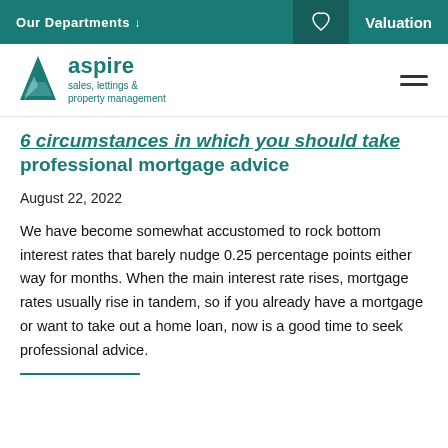Our Departments ↓    Valuation
[Figure (logo): Aspire sales, lettings & property management logo with teal triangle icon]
6 circumstances in which you should take professional mortgage advice
August 22, 2022
We have become somewhat accustomed to rock bottom interest rates that barely nudge 0.25 percentage points either way for months. When the main interest rate rises, mortgage rates usually rise in tandem, so if you already have a mortgage or want to take out a home loan, now is a good time to seek professional advice.